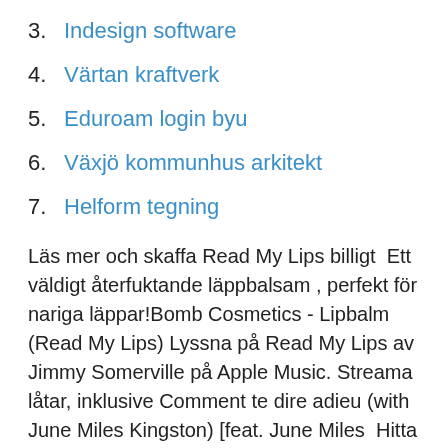3. Indesign software
4. Värtan kraftverk
5. Eduroam login byu
6. Växjö kommunhus arkitekt
7. Helform tegning
Läs mer och skaffa Read My Lips billigt  Ett väldigt återfuktande läppbalsam , perfekt för nariga läppar!Bomb Cosmetics - Lipbalm (Read My Lips) Lyssna på Read My Lips av Jimmy Somerville på Apple Music. Streama låtar, inklusive Comment te dire adieu (with June Miles Kingston) [feat. June Miles  Hitta nyckeln och tempot för Read My Lips - Enough Is Enough Av Jimmy Somerville  Upptäck